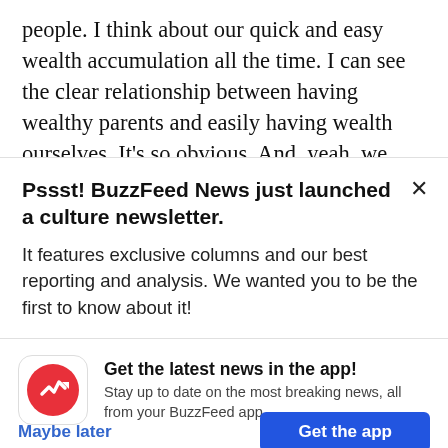people. I think about our quick and easy wealth accumulation all the time. I can see the clear relationship between having wealthy parents and easily having wealth ourselves. It's so obvious. And, yeah, we "work hard," but definitely not harder than
Pssst! BuzzFeed News just launched a culture newsletter.
It features exclusive columns and our best reporting and analysis. We wanted you to be the first to know about it!
Get the latest news in the app!
Stay up to date on the most breaking news, all from your BuzzFeed app.
Maybe later
Get the app